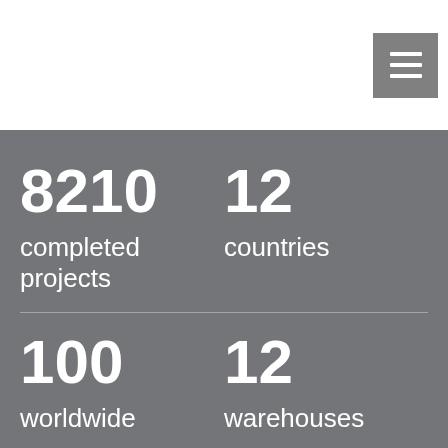[Figure (infographic): Hamburger menu button icon with three horizontal white lines on a gray square background, positioned in top-right corner]
8210
completed projects
12
countries
100
worldwide
12
warehouses